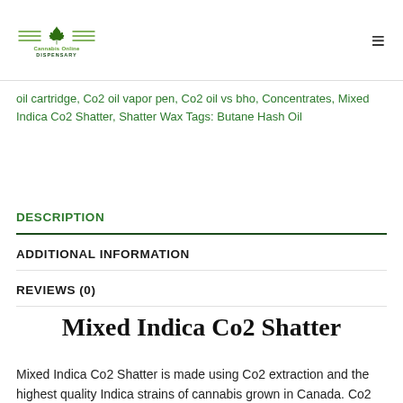Cannabis Online Dispensary
oil cartridge, Co2 oil vapor pen, Co2 oil vs bho, Concentrates, Mixed Indica Co2 Shatter, Shatter Wax Tags: Butane Hash Oil
DESCRIPTION
ADDITIONAL INFORMATION
REVIEWS (0)
Mixed Indica Co2 Shatter
Mixed Indica Co2 Shatter is made using Co2 extraction and the highest quality Indica strains of cannabis grown in Canada. Co2 extraction conditions are necessary for extracting while…